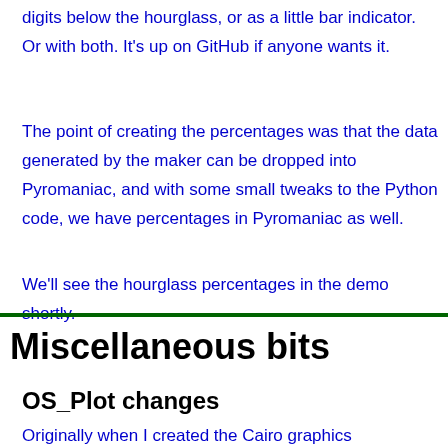digits below the hourglass, or as a little bar indicator. Or with both. It's up on GitHub if anyone wants it.
The point of creating the percentages was that the data generated by the maker can be dropped into Pyromaniac, and with some small tweaks to the Python code, we have percentages in Pyromaniac as well.
We'll see the hourglass percentages in the demo shortly.
Miscellaneous bits
OS_Plot changes
Originally when I created the Cairo graphics